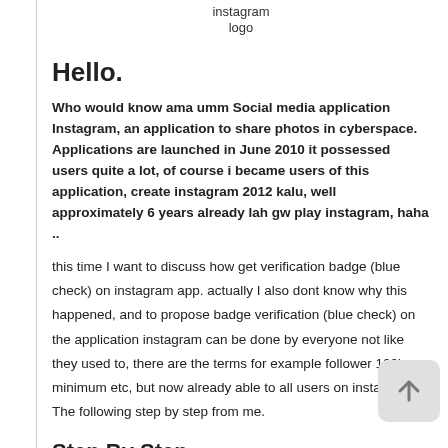[Figure (logo): Instagram logo placeholder text: 'instagram logo']
Hello.
Who would know ama umm Social media application Instagram, an application to share photos in cyberspace. Applications are launched in June 2010 it possessed users quite a lot, of course i became users of this application, create instagram 2012 kalu, well approximately 6 years already lah gw play instagram, haha ..
this time I want to discuss how get verification badge (blue check) on instagram app. actually I also dont know why this happened, and to propose badge verification (blue check) on the application instagram can be done by everyone not like they used to, there are the terms for example follower 100k minimum etc, but now already able to all users on instagram, The following step by step from me.
Step By Step:
1. Have Instagram account and Go to Menu "Settings / Settings"